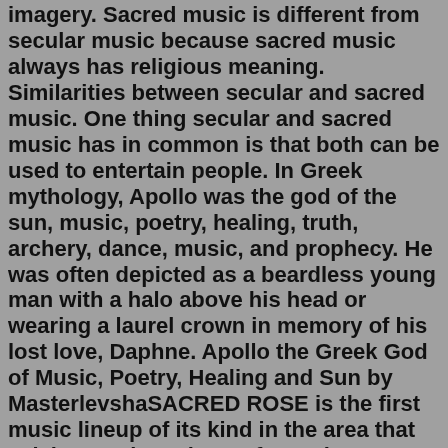imagery. Sacred music is different from secular music because sacred music always has religious meaning. Similarities between secular and sacred music. One thing secular and sacred music has in common is that both can be used to entertain people. In Greek mythology, Apollo was the god of the sun, music, poetry, healing, truth, archery, dance, music, and prophecy. He was often depicted as a beardless young man with a halo above his head or wearing a laurel crown in memory of his lost love, Daphne. Apollo the Greek God of Music, Poetry, Healing and Sun by MasterlevshaSACRED ROSE is the first music lineup of its kind in the area that celebrates the culture of Americana, Psychedelic Indie, Jambands, Rock, Soul, Funk & Bluegrass. Beyond the music, expect larger-than-life interactive art installations, quality Chicago-based food and beverages, and a moment in time to connect with the community that ties us all … Sacred Rose Music Festival Day 1 Read More »The ordinary of the mass (consisting of the Kyrie, Gloria, Credo, Sanctus and Benedictus, Agnus Dei, and in some